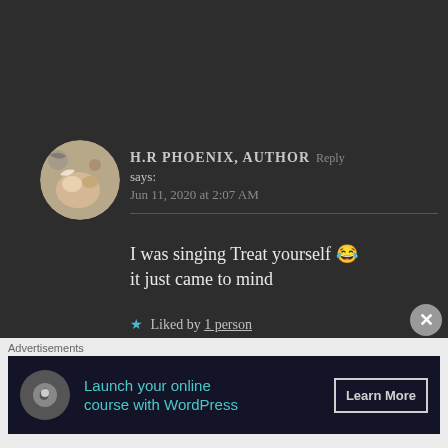[Figure (photo): Circular avatar photo showing a cat's paw being held by a person]
H.R PHOENIX, AUTHOR Reply says:
Jun 11, 2020 at 2:07 AM
I was singing Treat yourself 😂 it just came to mind
★ Liked by 1 person
[Figure (logo): Circular avatar with black and white geometric pattern]
MOHAMAD TOUTOUNJI Reply says:
Advertisements
[Figure (infographic): Advertisement banner: Launch your online course with WordPress — Learn More button]